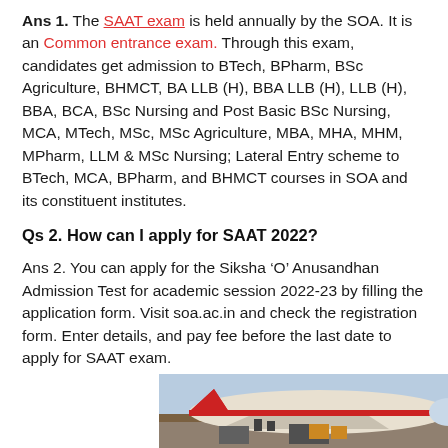Ans 1. The SAAT exam is held annually by the SOA. It is an Common entrance exam. Through this exam, candidates get admission to BTech, BPharm, BSc Agriculture, BHMCT, BA LLB (H), BBA LLB (H), LLB (H), BBA, BCA, BSc Nursing and Post Basic BSc Nursing, MCA, MTech, MSc, MSc Agriculture, MBA, MHA, MHM, MPharm, LLM & MSc Nursing; Lateral Entry scheme to BTech, MCA, BPharm, and BHMCT courses in SOA and its constituent institutes.
Qs 2. How can I apply for SAAT 2022?
Ans 2. You can apply for the Siksha 'O' Anusandhan Admission Test for academic session 2022-23 by filling the application form. Visit soa.ac.in and check the registration form. Enter details, and pay fee before the last date to apply for SAAT exam.
[Figure (photo): Advertisement banner showing a cargo airplane being loaded, with a dark blue panel on the right reading 'WITHOUT REGARD TO' in white text.]